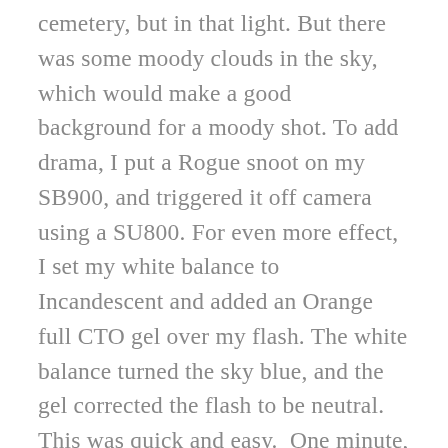cemetery, but in that light. But there was some moody clouds in the sky, which would make a good background for a moody shot. To add drama, I put a Rogue snoot on my SB900, and triggered it off camera using a SU800. For even more effect, I set my white balance to Incandescent and added an Orange full CTO gel over my flash. The white balance turned the sky blue, and the gel corrected the flash to be neutral. This was quick and easy. One minute, gray skies and yuck, the next minute a dramatic moody shot capitalizing on the gray cloudy sky. Learning new techniques, in this case off camera flash, will give you more tools to create ‘solutions’ in your photography.